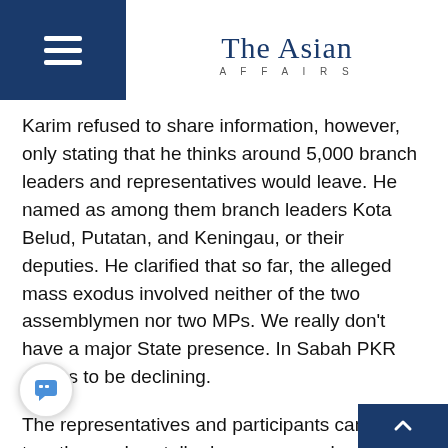The Asian AFFAIRS
Karim refused to share information, however, only stating that he thinks around 5,000 branch leaders and representatives would leave. He named as among them branch leaders Kota Belud, Putatan, and Keningau, or their deputies. He clarified that so far, the alleged mass exodus involved neither of the two assemblymen nor two MPs. We really don't have a major State presence. In Sabah PKR seems to be declining.
The representatives and participants came together and we talked among ourselves about it, and agreed to resign. He said they'd have a few hundred people present at the resignation and press conference on Friday but only 30 people will be permitted as directed by police. He added that their gripes were mainly with the leadership of the state PKR, adding that they